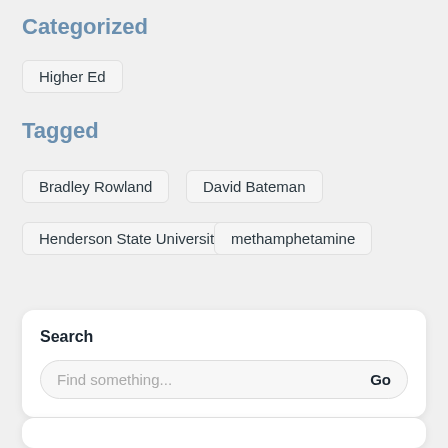Categorized
Higher Ed
Tagged
Bradley Rowland
David Bateman
Henderson State University
methamphetamine
Search
Find something...  Go